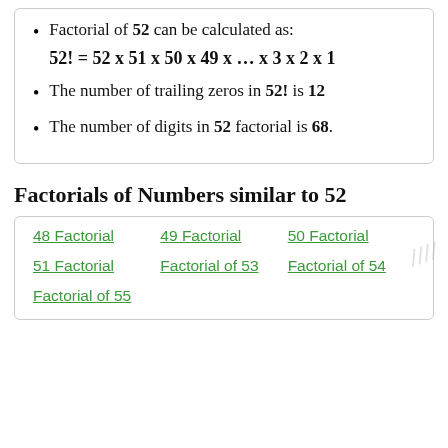Factorial of 52 can be calculated as: 52! = 52 x 51 x 50 x 49 x ... x 3 x 2 x 1
The number of trailing zeros in 52! is 12
The number of digits in 52 factorial is 68.
Factorials of Numbers similar to 52
48 Factorial  49 Factorial  50 Factorial  51 Factorial  Factorial of 53  Factorial of 54  Factorial of 55